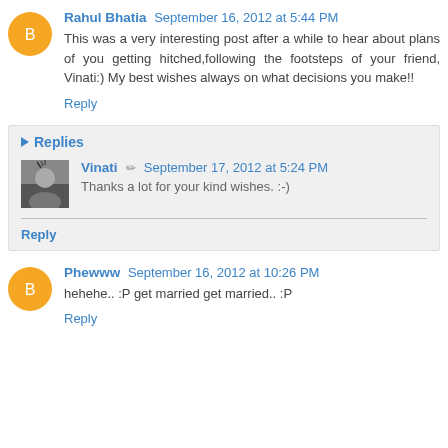Rahul Bhatia September 16, 2012 at 5:44 PM
This was a very interesting post after a while to hear about plans of you getting hitched,following the footsteps of your friend, Vinati:) My best wishes always on what decisions you make!!
Reply
Replies
Vinati September 17, 2012 at 5:24 PM
Thanks a lot for your kind wishes. :-)
Reply
Phewww September 16, 2012 at 10:26 PM
hehehe.. :P get married get married.. :P
Reply